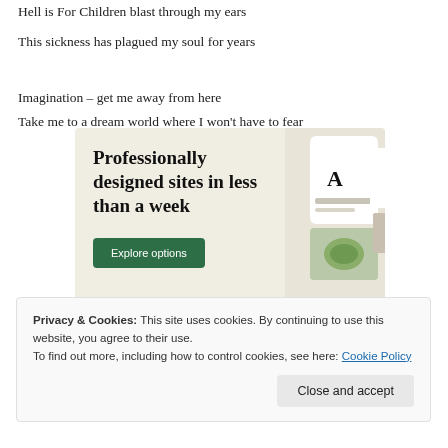Hell is For Children blast through my ears
This sickness has plagued my soul for years
Imagination – get me away from here
Take me to a dream world where I won't have to fear
[Figure (infographic): Advertisement banner with beige background reading 'Professionally designed sites in less than a week' with a green 'Explore options' button and UI mockup images on the right side.]
Privacy & Cookies: This site uses cookies. By continuing to use this website, you agree to their use.
To find out more, including how to control cookies, see here: Cookie Policy
Close and accept